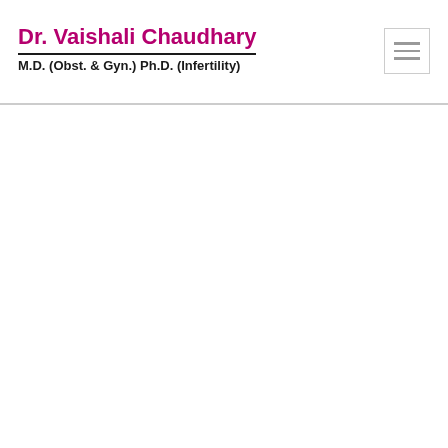Dr. Vaishali Chaudhary
M.D. (Obst. & Gyn.) Ph.D. (Infertility)
[Figure (other): Hamburger menu toggle button icon with three horizontal lines]